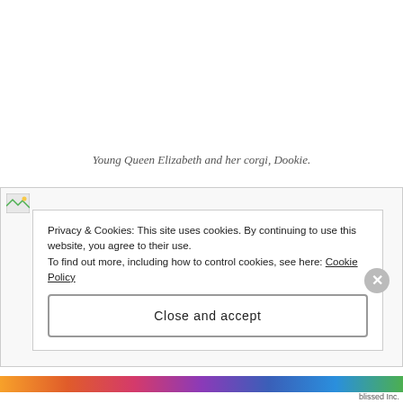Young Queen Elizabeth and her corgi, Dookie.
[Figure (photo): Broken image placeholder for a photo of Young Queen Elizabeth and her corgi Dookie]
Privacy & Cookies: This site uses cookies. By continuing to use this website, you agree to their use.
To find out more, including how to control cookies, see here: Cookie Policy
Close and accept